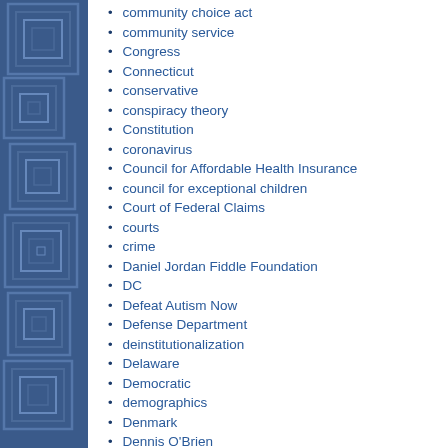community choice act
community service
Congress
Connecticut
conservative
conspiracy theory
Constitution
coronavirus
Council for Affordable Health Insurance
council for exceptional children
Court of Federal Claims
courts
crime
Daniel Jordan Fiddle Foundation
DC
Defeat Autism Now
Defense Department
deinstitutionalization
Delaware
Democratic
demographics
Denmark
Dennis O'Brien